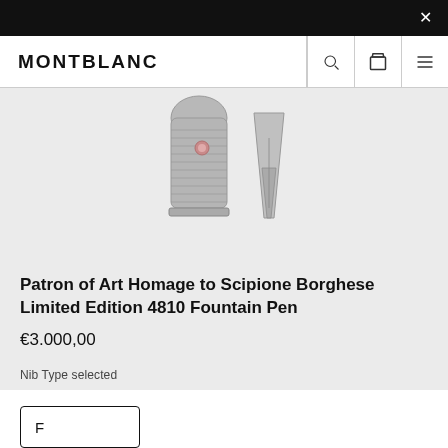MONTBLANC
[Figure (photo): Close-up photo of a Montblanc fountain pen nib and barrel section in silver/pewter finish, shown on a light grey background]
Patron of Art Homage to Scipione Borghese Limited Edition 4810 Fountain Pen
€3.000,00
Nib Type selected
F